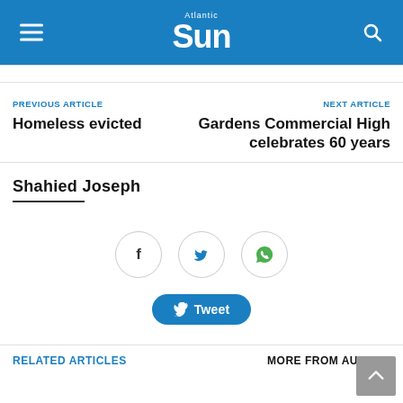Atlantic Sun
PREVIOUS ARTICLE
Homeless evicted
NEXT ARTICLE
Gardens Commercial High celebrates 60 years
Shahied Joseph
[Figure (infographic): Social share icons: Facebook, Twitter, WhatsApp circles and a Tweet button]
RELATED ARTICLES
MORE FROM AUTHOR